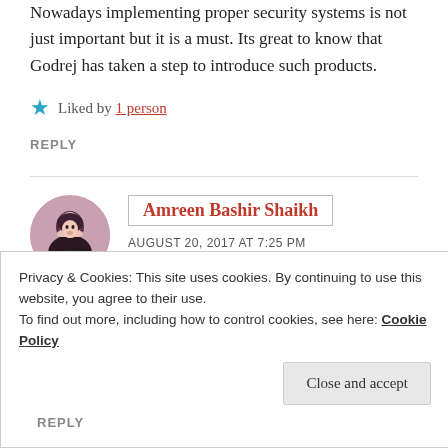Nowadays implementing proper security systems is not just important but it is a must. Its great to know that Godrej has taken a step to introduce such products.
Liked by 1 person
REPLY
Amreen Bashir Shaikh
AUGUST 20, 2017 AT 7:25 PM
Privacy & Cookies: This site uses cookies. By continuing to use this website, you agree to their use.
To find out more, including how to control cookies, see here: Cookie Policy
Close and accept
REPLY